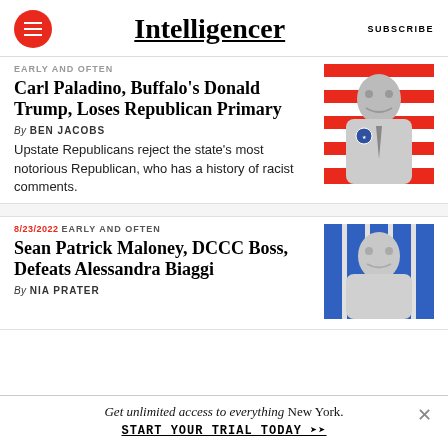Intelligencer | SUBSCRIBE
EARLY AND OFTEN
Carl Paladino, Buffalo's Donald Trump, Loses Republican Primary
By BEN JACOBS
Upstate Republicans reject the state's most notorious Republican, who has a history of racist comments.
[Figure (photo): Black and white photo of Carl Paladino in front of red and white striped background with campaign button]
8/23/2022 EARLY AND OFTEN
Sean Patrick Maloney, DCCC Boss, Defeats Alessandra Biaggi
By NIA PRATER
[Figure (photo): Black and white photo of Sean Patrick Maloney with blue stripe background]
Get unlimited access to everything New York. START YOUR TRIAL TODAY ➤➤